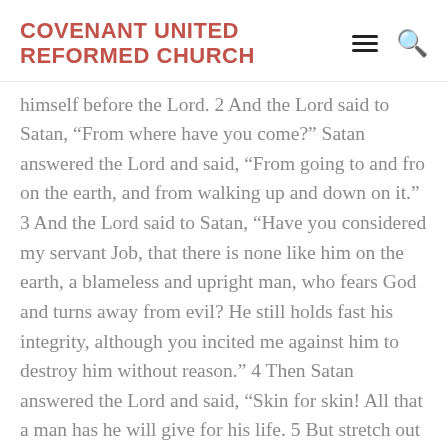COVENANT UNITED REFORMED CHURCH
himself before the Lord. 2 And the Lord said to Satan, “From where have you come?” Satan answered the Lord and said, “From going to and fro on the earth, and from walking up and down on it.” 3 And the Lord said to Satan, “Have you considered my servant Job, that there is none like him on the earth, a blameless and upright man, who fears God and turns away from evil? He still holds fast his integrity, although you incited me against him to destroy him without reason.” 4 Then Satan answered the Lord and said, “Skin for skin! All that a man has he will give for his life. 5 But stretch out your hand and touch his bone and his flesh, and he will curse you to your face.” 6 And the Lord said to Satan, “Behold, he is in your hand; only spare his life.” 7